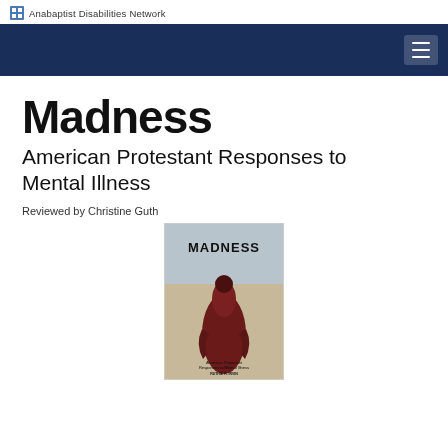Anabaptist Disabilities Network
Madness
American Protestant Responses to Mental Illness
Reviewed by Christine Guth
[Figure (photo): Book cover of 'Madness: American Protestant Responses to Mental Illness' showing a figure in a red cloak against a dark background]